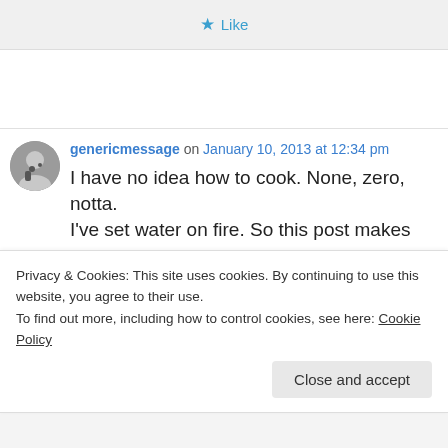★ Like
genericmessage on January 10, 2013 at 12:34 pm
I have no idea how to cook. None, zero, notta. I've set water on fire. So this post makes me
Privacy & Cookies: This site uses cookies. By continuing to use this website, you agree to their use.
To find out more, including how to control cookies, see here: Cookie Policy
Close and accept